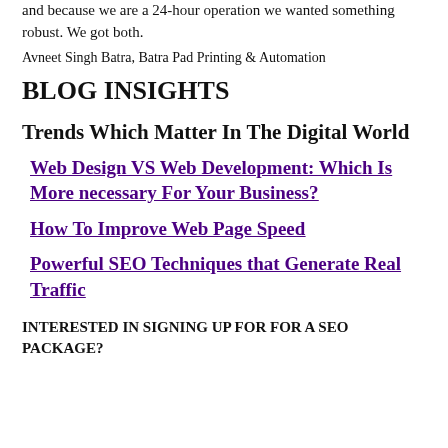and because we are a 24-hour operation we wanted something robust. We got both.
Avneet Singh Batra, Batra Pad Printing & Automation
BLOG INSIGHTS
Trends Which Matter In The Digital World
Web Design VS Web Development: Which Is More necessary For Your Business?
How To Improve Web Page Speed
Powerful SEO Techniques that Generate Real Traffic
INTERESTED IN SIGNING UP FOR FOR A SEO PACKAGE?